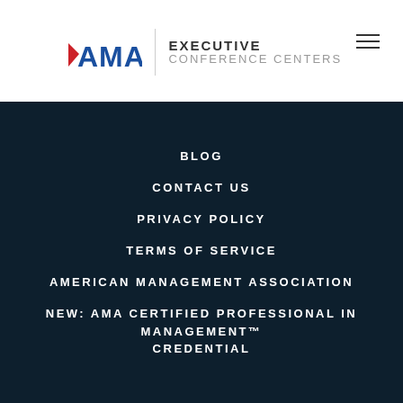[Figure (logo): AMA Executive Conference Centers logo with AMA text in blue and red arrow, vertical divider, and EXECUTIVE CONFERENCE CENTERS text in dark gray]
BLOG
CONTACT US
PRIVACY POLICY
TERMS OF SERVICE
AMERICAN MANAGEMENT ASSOCIATION
NEW: AMA CERTIFIED PROFESSIONAL IN MANAGEMENT™ CREDENTIAL